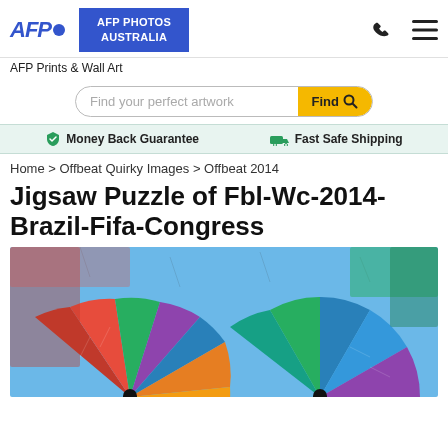AFP PHOTOS AUSTRALIA
AFP Prints & Wall Art
Find your perfect artwork
Money Back Guarantee  Fast Safe Shipping
Home > Offbeat Quirky Images > Offbeat 2014
Jigsaw Puzzle of Fbl-Wc-2014-Brazil-Fifa-Congress
[Figure (photo): Jigsaw puzzle image showing two people viewed from above holding colorful multi-colored umbrellas against a blue sky background]